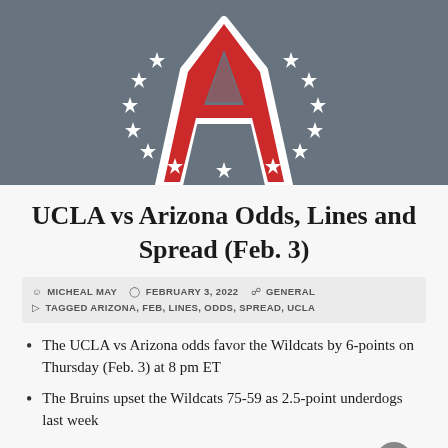[Figure (illustration): Arizona Wildcats logo area with red stylized 'A' letter on a dark blue-grey background with white stars arranged in a semicircle below it]
UCLA vs Arizona Odds, Lines and Spread (Feb. 3)
MICHEAL MAY   FEBRUARY 3, 2022   GENERAL   TAGGED ARIZONA, FEB, LINES, ODDS, SPREAD, UCLA
The UCLA vs Arizona odds favor the Wildcats by 6-points on Thursday (Feb. 3) at 8 pm ET
The Bruins upset the Wildcats 75-59 as 2.5-point underdogs last week
Read below for odds, analysis and a betting prediction